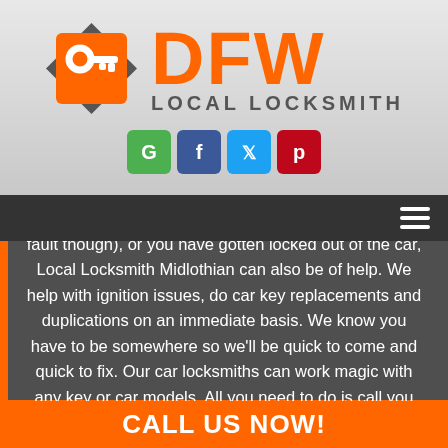[Figure (logo): DFW Local Locksmith logo with orange key icon and orange DFW text with gray LOCAL LOCKSMITH subtitle]
[Figure (infographic): Social media icons: Google (green), Facebook (blue), Twitter (light blue), Pinterest (red)]
If your car key has finally broken (not that it's all your fault though), or you have gotten locked out of the car, Local Locksmith Midlothian can also be of help. We help with ignition issues, do car key replacements and duplications on an immediate basis. We know you have to be somewhere so we'll be quick to come and quick to fix. Our car locksmiths can work magic with any key or car models. All you need to do is call you with your query.
CALL US NOW!